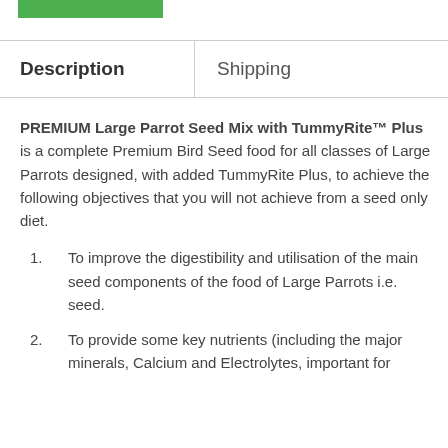[Figure (other): Green rectangular bar/button at top left]
| Description | Shipping |
| --- | --- |
PREMIUM Large Parrot Seed Mix with TummyRite™ Plus is a complete Premium Bird Seed food for all classes of Large Parrots designed, with added TummyRite Plus, to achieve the following objectives that you will not achieve from a seed only diet.
To improve the digestibility and utilisation of the main seed components of the food of Large Parrots i.e. seed.
To provide some key nutrients (including the major minerals, Calcium and Electrolytes, important for